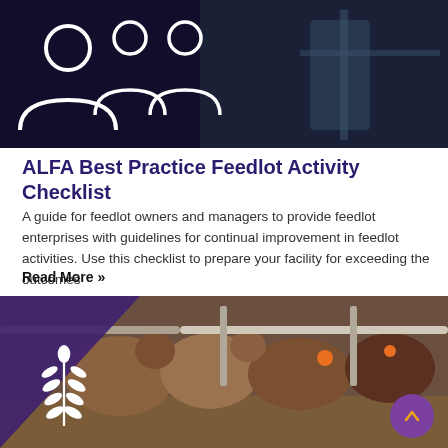[Figure (photo): Dark-themed header image showing white silhouette icons of people on the left side and a person standing near farm equipment on the right side against a dark background.]
ALFA Best Practice Feedlot Activity Checklist
A guide for feedlot owners and managers to provide feedlot enterprises with guidelines for continual improvement in feedlot activities. Use this checklist to prepare your facility for exceeding the outcomes
Read More »
[Figure (photo): Photo of cattle (cows) lined up at a feeding rail/trough, with a purple overlay triangle on the left side containing a white wheat/grain leaf icon, and a purple circular scroll-up button at the bottom right.]